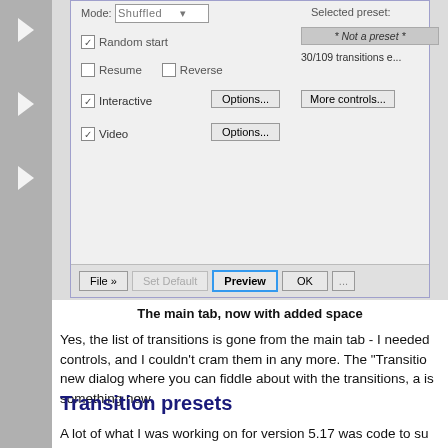[Figure (screenshot): Screenshot of a software dialog window showing transition settings with checkboxes for Random start, Resume, Reverse, Interactive, Video, and buttons for File, Set Default, Preview, OK. Selected preset shown as '* Not a preset *' and '30/109 transitions e...' label visible.]
The main tab, now with added space
Yes, the list of transitions is gone from the main tab - I needed controls, and I couldn't cram them in any more. The "Transition" new dialog where you can fiddle about with the transitions, a is something new.
Transition presets
A lot of what I was working on for version 5.17 was code to su types, and as a result of that you can now save your transition again quickly from the main tab. I've included a list of default handy, or you could just delete them all and make your own.